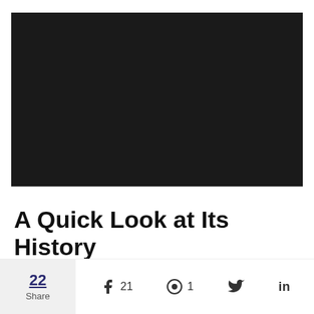[Figure (photo): Large dark/black rectangular image placeholder at the top of the page]
A Quick Look at Its History
22 Share | Facebook 21 | Pinterest 1 | Twitter | LinkedIn